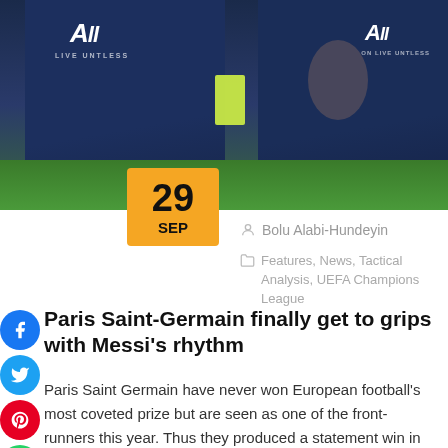[Figure (photo): Two PSG players in dark blue jerseys with 'All' sponsor logo, one showing a yellow-green captain's armband, photographed on a football pitch]
29 SEP
Bolu Alabi-Hundeyin
Features, News, Tactical Analysis, UEFA Champions League
Paris Saint-Germain finally get to grips with Messi's rhythm
Paris Saint Germain have never won European football's most coveted prize but are seen as one of the front-runners this year. Thus they produced a statement win in the UEFA Champions